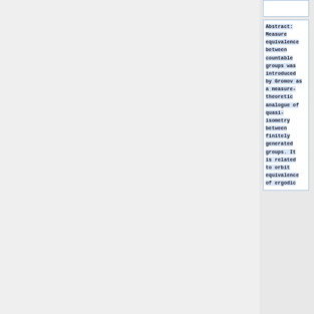Abstract: Measure equivalence between countable groups was introduced by Gromov as a measure-theoretic analogue of quasi-isometry between finitely generated groups. It is related to orbit equivalence of ergodic